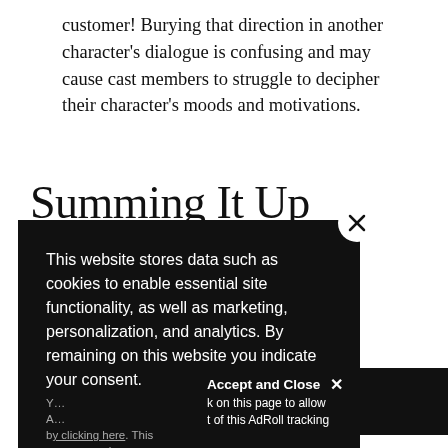customer! Burying that direction in another character's dialogue is confusing and may cause cast members to struggle to decipher their character's moods and motivations.
Summing It Up
…t that's …sy to follow …allenge …e. By using …g out a
[Figure (screenshot): Cookie consent overlay popup on dark background reading: 'This website stores data such as cookies to enable essential site functionality, as well as marketing, personalization, and analytics. By remaining on this website you indicate your consent.' with a Privacy Notice link and close button. An 'Accept and Close X' bar appears in bottom right with AdRoll tracking text.]
liked these writing tips? You'll find loads more on P…